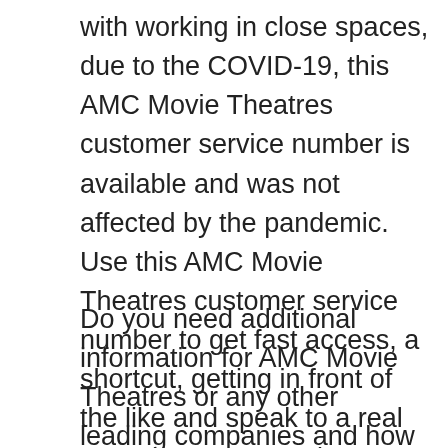with working in close spaces, due to the COVID-19, this AMC Movie Theatres customer service number is available and was not affected by the pandemic. Use this AMC Movie Theatres customer service number to get fast access, a shortcut, getting in front of the like and speak to a real person at AMC Movie Theatres customer service team.
Do you need additional information for AMC Movie Theatres or any other leading companies and how to talk to a real person? Our team is ready to assist you. Please send